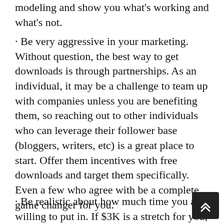modeling and show you what's working and what's not.
· Be very aggressive in your marketing. Without question, the best way to get downloads is through partnerships. As an individual, it may be a challenge to team up with companies unless you are benefiting them, so reaching out to other individuals who can leverage their follower base (bloggers, writers, etc) is a great place to start. Offer them incentives with free downloads and target them specifically. Even a few who agree with be a complete game changer for you.
· Be realistic about how much time you are willing to put in. If $3K is a stretch for you, having a marketing